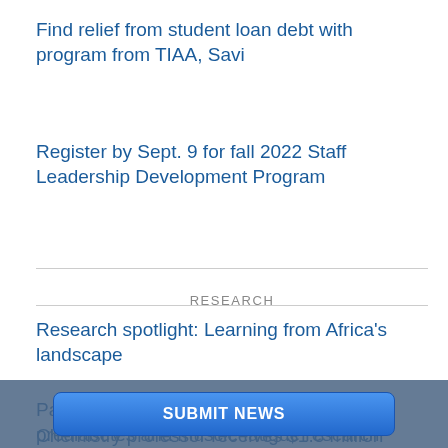Find relief from student loan debt with program from TIAA, Savi
Register by Sept. 9 for fall 2022 Staff Leadership Development Program
RESEARCH
Research spotlight: Learning from Africa's landscape
Participate in College of Health Sciences' prediabetes and muscle fatigue research study
Chemistry professor receives $1.8 million grant